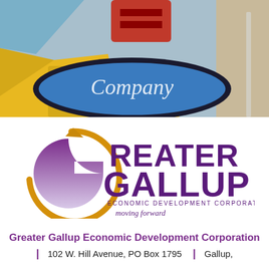[Figure (photo): Photograph of colorful business signs including a blue oval sign reading 'Company' and a yellow sign, with a red sign visible above, against a light blue sky background.]
[Figure (logo): Greater Gallup Economic Development Corporation logo featuring a stylized purple and gold letter G with an arrow, and bold purple text reading 'GREATER GALLUP' with 'ECONOMIC DEVELOPMENT CORPORATION' and italic 'moving forward' below.]
Greater Gallup Economic Development Corporation
| 102 W. Hill Avenue, PO Box 1795 | Gallup,